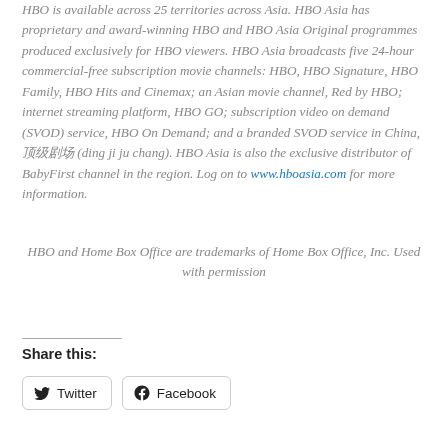HBO is available across 25 territories across Asia. HBO Asia has proprietary and award-winning HBO and HBO Asia Original programmes produced exclusively for HBO viewers. HBO Asia broadcasts five 24-hour commercial-free subscription movie channels: HBO, HBO Signature, HBO Family, HBO Hits and Cinemax; an Asian movie channel, Red by HBO; internet streaming platform, HBO GO; subscription video on demand (SVOD) service, HBO On Demand; and a branded SVOD service in China, 顶级剧场 (ding ji ju chang). HBO Asia is also the exclusive distributor of BabyFirst channel in the region. Log on to www.hboasia.com for more information.
HBO and Home Box Office are trademarks of Home Box Office, Inc. Used with permission
Share this:
Twitter
Facebook